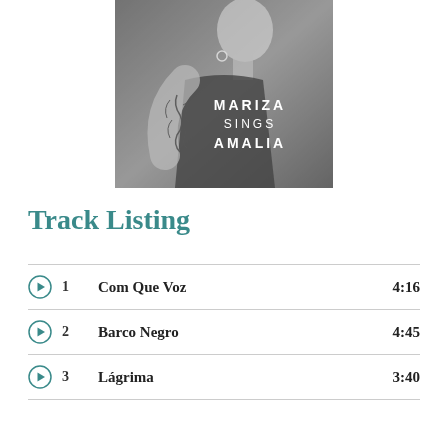[Figure (photo): Black and white album cover photo of a woman with floral tattoo on her arm, with text overlay 'MARIZA SINGS AMALIA']
Track Listing
1  Com Que Voz  4:16
2  Barco Negro  4:45
3  Lágrima  3:40